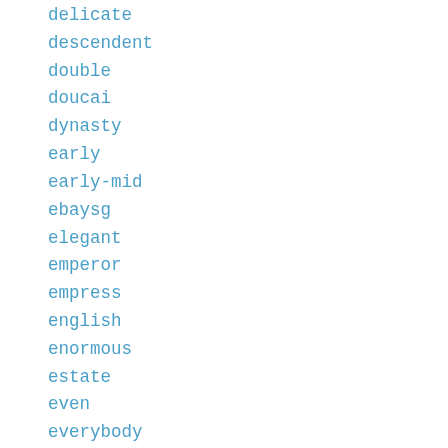delicate
descendent
double
doucai
dynasty
early
early-mid
ebaysg
elegant
emperor
empress
english
enormous
estate
even
everybody
excellent
exceptional
exhibition
exquisite